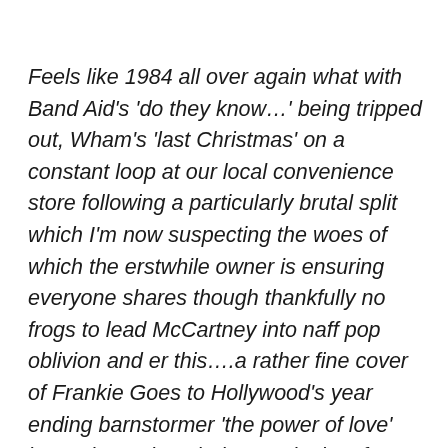Feels like 1984 all over again what with Band Aid's 'do they know…' being tripped out, Wham's 'last Christmas' on a constant loop at our local convenience store following a particularly brutal split which I'm now suspecting the woes of which the erstwhile owner is ensuring everyone shares though thankfully no frogs to lead McCartney into naff pop oblivion and er this….a rather fine cover of Frankie Goes to Hollywood's year ending barnstormer 'the power of love' here trimmed, tooled up and taken for a spin by 'all girl doom poppers'  the Courrtesans. This brooding babe comes armed and applied with a darkening shadowy edge curdling the mix morphing it into something coolly steeled in a minimalist statuesque bliss kissed industrial grooving to reveal a seductively purred tension forming stateliness